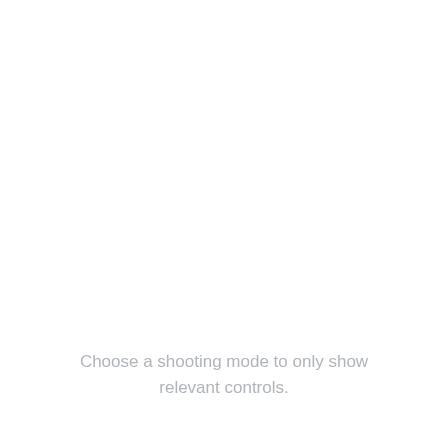Choose a shooting mode to only show relevant controls.